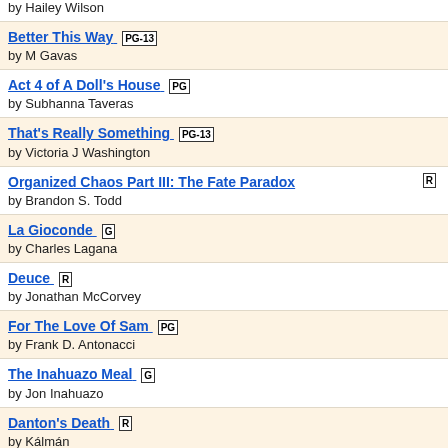by Hailey Wilson
Better This Way PG-13 by M Gavas
Act 4 of A Doll's House PG by Subhanna Taveras
That's Really Something PG-13 by Victoria J Washington
Organized Chaos Part III: The Fate Paradox R by Brandon S. Todd
La Gioconde G by Charles Lagana
Deuce R by Jonathan McCorvey
For The Love Of Sam PG by Frank D. Antonacci
The Inahuazo Meal G by Jon Inahuazo
Danton's Death R by Kálmán
Black November - Hiring PG-13 by Roan Cushing
B E A T R I C E (Short) R by Shawn Smith
Our Game - Our Rules PG-13